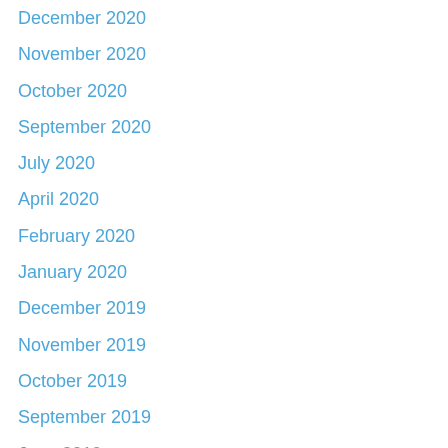December 2020
November 2020
October 2020
September 2020
July 2020
April 2020
February 2020
January 2020
December 2019
November 2019
October 2019
September 2019
June 2019
May 2019
January 2019
October 2018
September 2018
August 2018
July 2018
June 2018